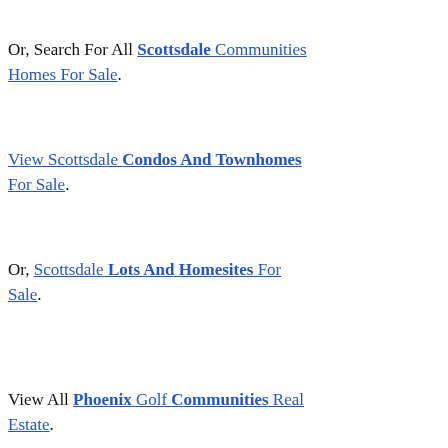Or, Search For All Scottsdale Communities Homes For Sale.
View Scottsdale Condos And Townhomes For Sale.
Or, Scottsdale Lots And Homesites For Sale.
View All Phoenix Golf Communities Real Estate.